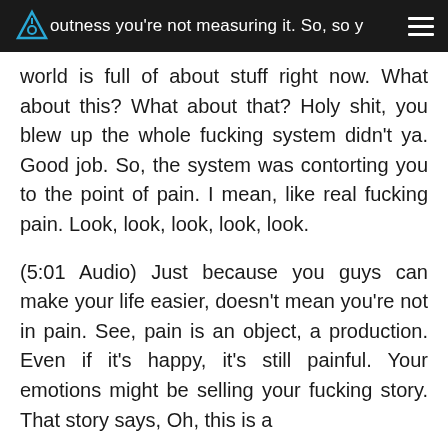outness you're not measuring it. So, so y…
world is full of about stuff right now. What about this? What about that? Holy shit, you blew up the whole fucking system didn't ya. Good job. So, the system was contorting you to the point of pain. I mean, like real fucking pain. Look, look, look, look, look.
(5:01 Audio) Just because you guys can make your life easier, doesn't mean you're not in pain. See, pain is an object, a production. Even if it's happy, it's still painful. Your emotions might be selling your fucking story. That story says, Oh, this is a